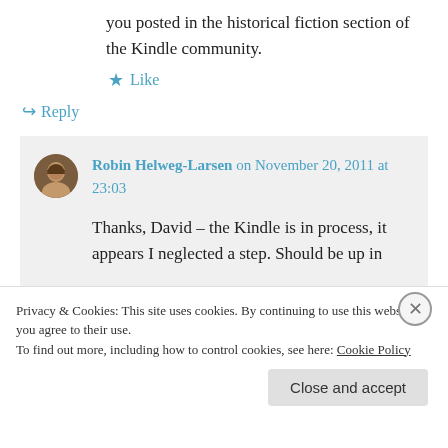you posted in the historical fiction section of the Kindle community.
★ Like
↪ Reply
Robin Helweg-Larsen on November 20, 2011 at 23:03
Thanks, David – the Kindle is in process, it appears I neglected a step. Should be up in
Privacy & Cookies: This site uses cookies. By continuing to use this website, you agree to their use.
To find out more, including how to control cookies, see here: Cookie Policy
Close and accept